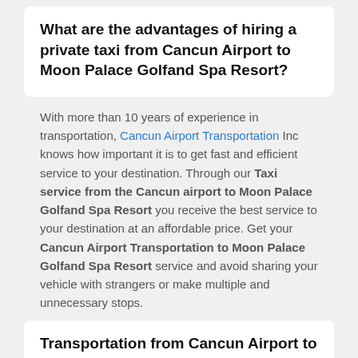What are the advantages of hiring a private taxi from Cancun Airport to Moon Palace Golfand Spa Resort?
With more than 10 years of experience in transportation, Cancun Airport Transportation Inc knows how important it is to get fast and efficient service to your destination. Through our Taxi service from the Cancun airport to Moon Palace Golfand Spa Resort you receive the best service to your destination at an affordable price. Get your Cancun Airport Transportation to Moon Palace Golfand Spa Resort service and avoid sharing your vehicle with strangers or make multiple and unnecessary stops.
Transportation from Cancun Airport to Moon Palace Golfand Spa Resort - Information